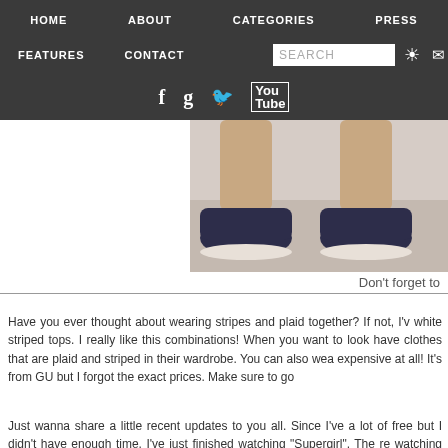HOME   ABOUT   CATEGORIES   PRESS
FEATURES   CONTACT   SEARCH   [instagram] [email]
[facebook] [google+] [twitter] [youtube]
[Figure (photo): Lower legs and feet of a person wearing dark navy/black slip-on sneakers, standing on a light surface]
Don't forget to
Have you ever thought about wearing stripes and plaid together? If not, I'v white striped tops. I really like this combinations! When you want to look have clothes that are plaid and striped in their wardrobe. You can also wea expensive at all! It's from GU but I forgot the exact prices. Make sure to go
Just wanna share a little recent updates to you all. Since I've a lot of free but I didn't have enough time. I've just finished watching "Supergirl". The re watching these kind of TV drama. At first, I thought it's kinda boring. But it